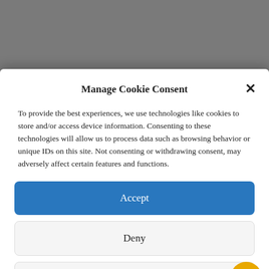Manage Cookie Consent
To provide the best experiences, we use technologies like cookies to store and/or access device information. Consenting to these technologies will allow us to process data such as browsing behavior or unique IDs on this site. Not consenting or withdrawing consent, may adversely affect certain features and functions.
Accept
Deny
View preferences